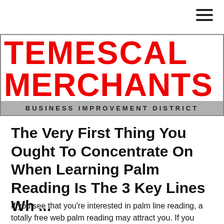[Figure (logo): Temescal Merchants Business Improvement District logo with red bold text on white background and grey bar at bottom]
The Very First Thing You Ought To Concentrate On When Learning Palm Reading Is The 3 Key Lines Wh ...
If you see that you’re interested in palm line reading, a totally free web palm reading may attract you. If you